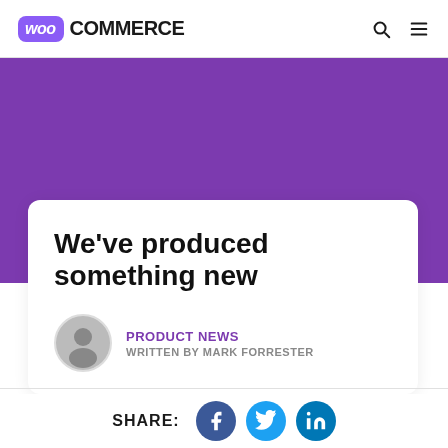WooCommerce
[Figure (illustration): Purple hero banner background]
We’ve produced something new
PRODUCT NEWS  WRITTEN BY MARK FORRESTER
SHARE: